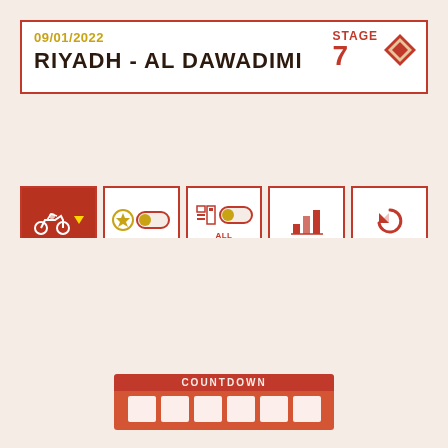09/01/2022 RIYADH - AL DAWADIMI STAGE 7
[Figure (screenshot): Navigation UI with MOTO, FAVORITES, ALL CATEGORIES, STATISTICS, REFRESH buttons]
[Figure (screenshot): Tab navigation row: MAP (active), LIVETIMINGS, LIVENEWS, RANKINGS, ASS WAYPOINT logo]
[Figure (screenshot): COUNTDOWN timer bar with empty cells at bottom of screen]